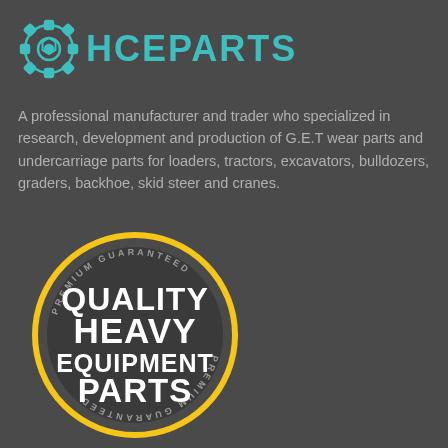[Figure (logo): HCEPARTS logo with teal gear icon and teal bold text 'HCEPARTS']
A professional manufacturer and trader who specialized in research, development and production of G.E.T wear parts and undercarriage parts for loaders, tractors, excavators, bulldozers, graders, backhoe, skid steer and cranes.
[Figure (illustration): Circular badge stamp with gold/yellow outer ring, dark background, white bold text reading 'QUALITY HEAVY EQUIPMENT PARTS', and 'PREMIUM GUARANTEED' text curved along the top and bottom of the outer ring (bottom text is upside-down mirrored).]